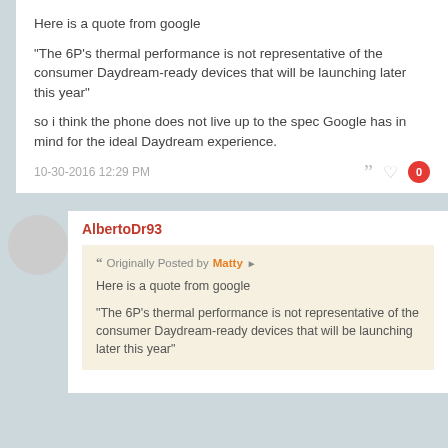Here is a quote from google

"The 6P's thermal performance is not representative of the consumer Daydream-ready devices that will be launching later this year"

so i think the phone does not live up to the spec Google has in mind for the ideal Daydream experience.
10-30-2016 12:29 PM
AlbertoDr93
Originally Posted by Matty
Here is a quote from google

"The 6P's thermal performance is not representative of the consumer Daydream-ready devices that will be launching later this year"